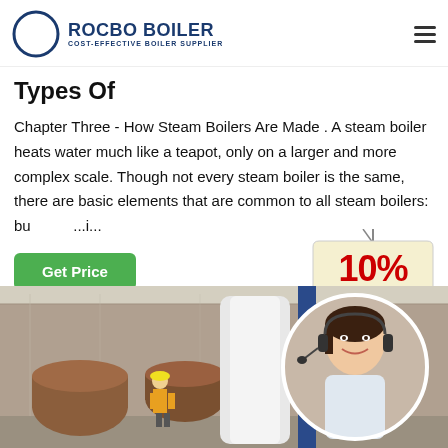ROCBO BOILER — COST-EFFECTIVE BOILER SUPPLIER
Types Of
Chapter Three - How Steam Boilers Are Made . A steam boiler heats water much like a teapot, only on a larger and more complex scale. Though not every steam boiler is the same, there are basic elements that are common to all steam boilers: bu... i...
[Figure (illustration): Green 'Get Price' button and a hanging '10% DISCOUNT' badge graphic overlaid on the page]
[Figure (photo): Industrial boiler manufacturing factory floor with workers and large boiler tanks; overlaid with a circular photo of a female customer service representative wearing a headset]